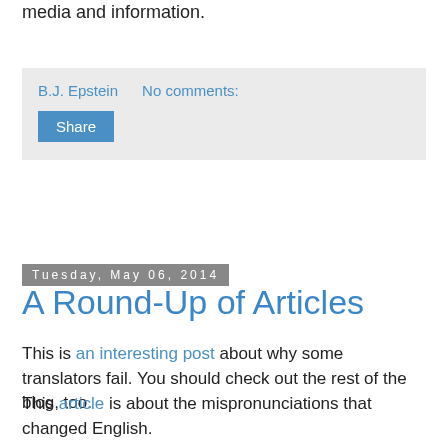media and information.
B.J. Epstein   No comments:
Share
Tuesday, May 06, 2014
A Round-Up of Articles
This is an interesting post about why some translators fail. You should check out the rest of the blog, too.
This article is about the mispronunciations that changed English.
This piece discusses linguistics.
Whether academic English should be quite so academic is a really fascinating debate. This article seems to argue for it remaining as it is. I, however, believe that accessibility is important. I think academics ought to try to write clearly and